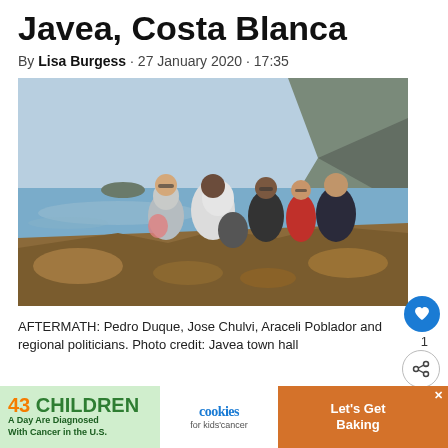Javea, Costa Blanca
By Lisa Burgess · 27 January 2020 · 17:35
[Figure (photo): Group of people including Pedro Duque, Jose Chulvi, Araceli Poblador and regional politicians standing on rocky coastal area with sea and mountain/headland in background at Javea, Costa Blanca.]
AFTERMATH: Pedro Duque, Jose Chulvi, Araceli Poblador and regional politicians. Photo credit: Javea town hall
JAVEA town hall worked round-the-clock to return the seafront to normal following Storm Gloria. As work progressed, politicians came to take...inovec.
[Figure (other): Advertisement banner: 43 CHILDREN A Day Are Diagnosed With Cancer in the U.S. | cookies for kids cancer | Let's Get Baking]